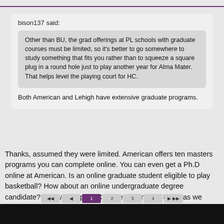bison137 said:
longsuffering said:
Other than BU, the grad offerings at PL schools with graduate courses must be limited, so it's better to go somewhere to study something that fits you rather than to squeeze a square plug in a round hole just to play another year for Alma Mater. That helps level the playing court for HC.
Both American and Lehigh have extensive graduate programs.
Thanks, assumed they were limited. American offers ten masters programs you can complete online. You can even get a Ph.D online at American. Is an online graduate student eligible to play basketball? How about an online undergraduate degree candidate? That would put HC further behind the 8-ball as we have no online degrees I am aware of. Hopefully you can only play intercollegiate sports as a full time residential student.